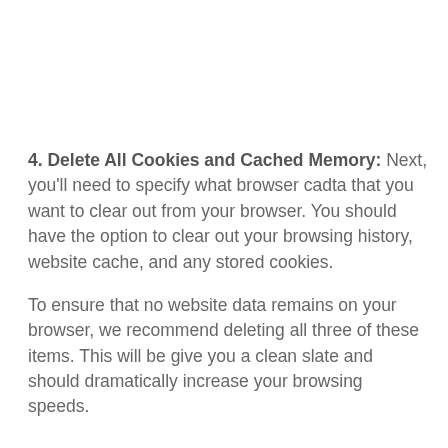4. Delete All Cookies and Cached Memory: Next, you'll need to specify what browser cadta that you want to clear out from your browser. You should have the option to clear out your browsing history, website cache, and any stored cookies.
To ensure that no website data remains on your browser, we recommend deleting all three of these items. This will be give you a clean slate and should dramatically increase your browsing speeds.